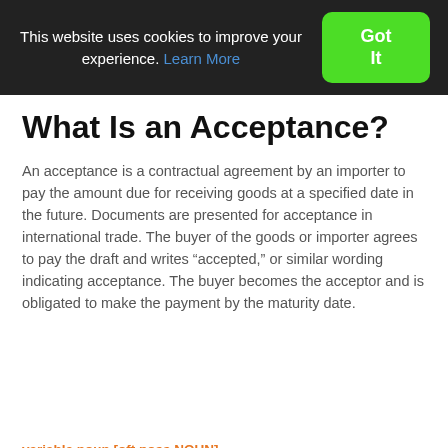This website uses cookies to improve your experience. Learn More  Got It
What Is an Acceptance?
An acceptance is a contractual agreement by an importer to pay the amount due for receiving goods at a specified date in the future. Documents are presented for acceptance in international trade. The buyer of the goods or importer agrees to pay the draft and writes “accepted,” or similar wording indicating acceptance. The buyer becomes the acceptor and is obligated to make the payment by the maturity date.
variable noun [oft poss NOUN]